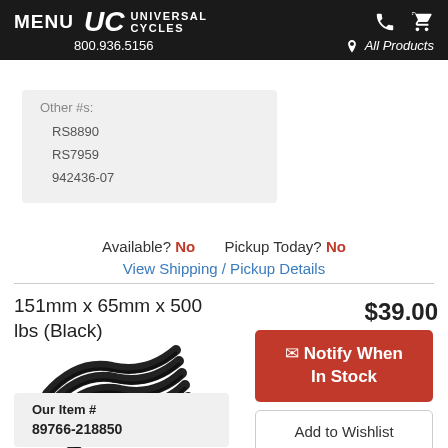MENU | UC UNIVERSAL CYCLES | 800.936.5156 | All Products
Other #s:
RS8890
RS7959
942436-07
Available? No   Pickup Today? No
View Shipping / Pickup Details
151mm x 65mm x 500 lbs (Black)
[Figure (photo): Black coil spring product photo]
$39.00
Notify When In Stock
Add to Wishlist
Our Item #
89766-218850